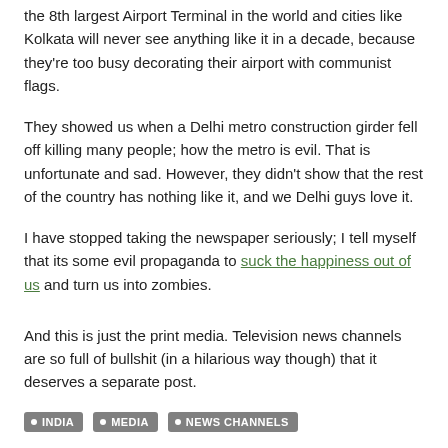the 8th largest Airport Terminal in the world and cities like Kolkata will never see anything like it in a decade, because they're too busy decorating their airport with communist flags.
They showed us when a Delhi metro construction girder fell off killing many people; how the metro is evil. That is unfortunate and sad. However, they didn't show that the rest of the country has nothing like it, and we Delhi guys love it.
I have stopped taking the newspaper seriously; I tell myself that its some evil propaganda to suck the happiness out of us and turn us into zombies.
And this is just the print media. Television news channels are so full of bullshit (in a hilarious way though) that it deserves a separate post.
INDIA
MEDIA
NEWS CHANNELS